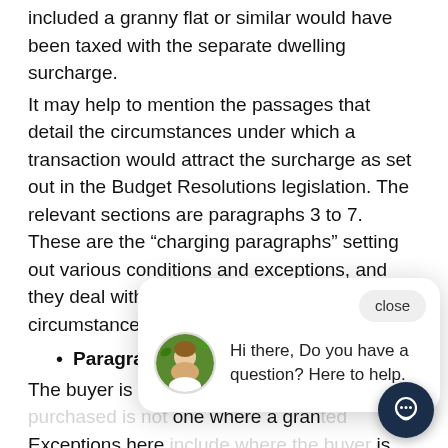included a granny flat or similar would have been taxed with the separate dwelling surcharge.
It may help to mention the passages that detail the circumstances under which a transaction would attract the surcharge as set out in the Budget Resolutions legislation. The relevant sections are paragraphs 3 to 7. These are the “charging paragraphs” setting out various conditions and exceptions, and they deal with the following general circumstances:
Paragraph 3
The buyer is an in[dividual and the dwelling purchased is not] one where a gran[ted] Exceptions here [include where the buyer] is replacing their main or only residence, or does not have any other property interests counting against them.
Paragraph 4
The buyer purchases a single dwelling but is not an